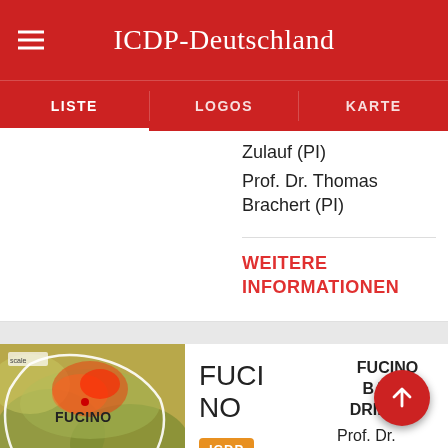ICDP-Deutschland
LISTE | LOGOS | KARTE
Zulauf (PI)
Prof. Dr. Thomas Brachert (PI)
WEITERE INFORMATIONEN
[Figure (map): Map showing Fucino region with terrain and heat overlay, labeled FUCINO]
FUCINO
ICDP
FUCINO BASIN DRILLING
Prof. Dr. Wagner